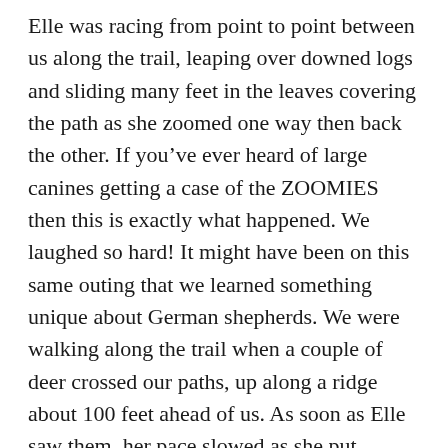Elle was racing from point to point between us along the trail, leaping over downed logs and sliding many feet in the leaves covering the path as she zoomed one way then back the other. If you've ever heard of large canines getting a case of the ZOOMIES then this is exactly what happened. We laughed so hard! It might have been on this same outing that we learned something unique about German shepherds. We were walking along the trail when a couple of deer crossed our paths, up along a ridge about 100 feet ahead of us. As soon as Elle saw them, her pace slowed as she put herself between us facing the “threat.” Well we didn’t know that the deer were a threat but to Elle they must have been so! We stopped in amazement to watch both the deer scamper away and our dog keep a close eye on them until they were out of sight. Some very detailed sniffs followed by our fuzzy protector when we got up to